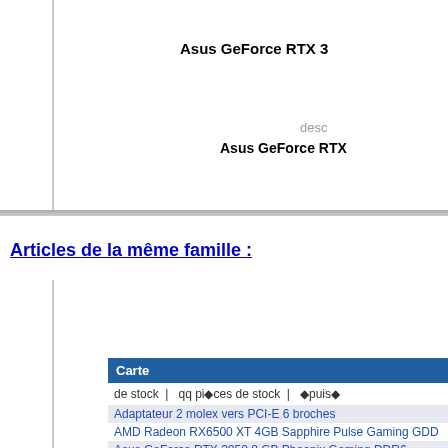Asus GeForce RTX 3
desc
Asus GeForce RTX
Articles de la même famille :
| Carte |
| --- |
| de stock |   qq pi�ces de stock |   �puis� |
| Adaptateur 2 molex vers PCI-E 6 broches |
| AMD Radeon RX6500 XT 4GB Sapphire Pulse Gaming GDD |
| Asus GeForce RTX 3050 8 GB Phoenix Gaming DDR6 |
| Asus GeForce RTX 3060 12 Gb PH-RTX3060-12G-V2 DDR6 |
| Asus GeForce RTX 3070 Ti TUF Gaming 8 Gb DDR6 OC edi |
| Asus TUF RTX 3080 10GB V2 O10G-V2-Gaming |
| Evga GeForce RTX 3050 8 GB gaming Dual XC DDR6 |
| Gigabyte GeForce RTX 3050 8 GB Eagle DDR6 |
| Gigabyte GeForce RTX 3060 TI 8 Gb Eagle OC |
| Gigabyte GeForce RTX 3070 Gaming OC 8 Gb DDR6 |
| Gigabyte GeForce RTX 3080 Gaming OC 10 Gb DDR6 |
| Gigabyte GeForce RTX 3080 Vision OC 10GB DDR6 |
| Gigabyte GeForce RTX 3080Ti Master 12GB DDR6 |